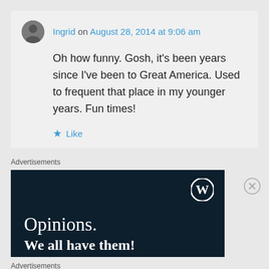Ingrid on August 28, 2014 at 9:06 am
Oh how funny. Gosh, it's been years since I've been to Great America. Used to frequent that place in my younger years. Fun times!
Like
Advertisements
[Figure (screenshot): WordPress advertisement banner with dark navy background, WordPress logo top right, text 'Opinions.' and 'We all have them!' in white serif font]
Advertisements